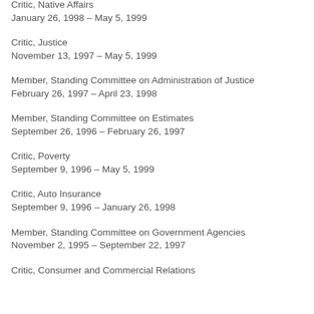Critic, Native Affairs
January 26, 1998 – May 5, 1999
Critic, Justice
November 13, 1997 – May 5, 1999
Member, Standing Committee on Administration of Justice
February 26, 1997 – April 23, 1998
Member, Standing Committee on Estimates
September 26, 1996 – February 26, 1997
Critic, Poverty
September 9, 1996 – May 5, 1999
Critic, Auto Insurance
September 9, 1996 – January 26, 1998
Member, Standing Committee on Government Agencies
November 2, 1995 – September 22, 1997
Critic, Consumer and Commercial Relations